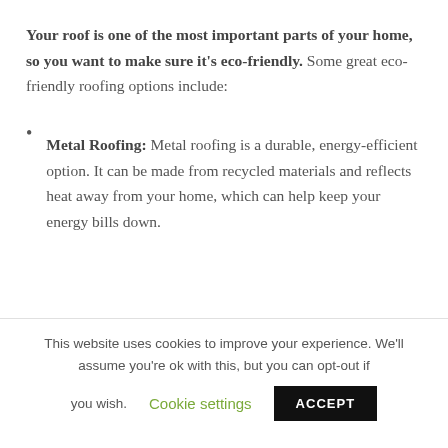Your roof is one of the most important parts of your home, so you want to make sure it's eco-friendly. Some great eco-friendly roofing options include:
Metal Roofing: Metal roofing is a durable, energy-efficient option. It can be made from recycled materials and reflects heat away from your home, which can help keep your energy bills down.
This website uses cookies to improve your experience. We'll assume you're ok with this, but you can opt-out if you wish. Cookie settings ACCEPT